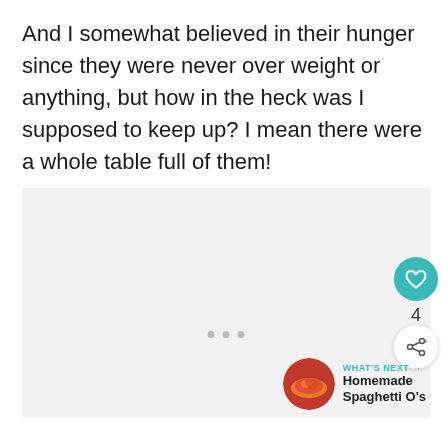And I somewhat believed in their hunger since they were never over weight or anything, but how in the heck was I supposed to keep up? I mean there were a whole table full of them!
[Figure (other): A light gray image placeholder area with a 'WHAT'S NEXT' widget in the bottom-right showing a thumbnail of Homemade Spaghetti O's, along with a teal heart/like button showing 4 likes and a share button.]